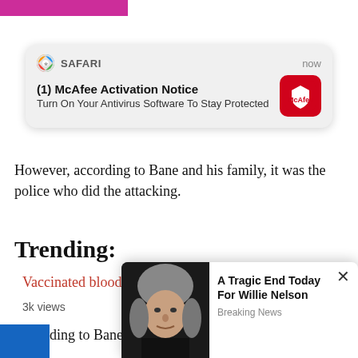[Figure (screenshot): Safari browser notification popup: '(1) McAfee Activation Notice - Turn On Your Antivirus Software To Stay Protected' with McAfee red icon, timestamped 'now']
However, according to Bane and his family, it was the police who did the attacking.
Trending:
Vaccinated blood is tainted blood, study finds
3k views
According to Bane's nephew, Josh Bane, he was walki... appro...
[Figure (screenshot): Ad popup with photo of Willie Nelson and text 'A Tragic End Today For Willie Nelson' with subtext 'Breaking News', close button (x) in top right]